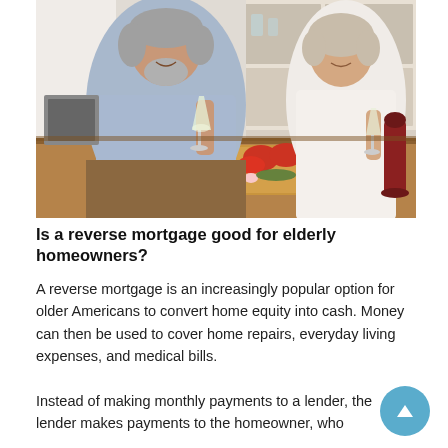[Figure (photo): An elderly couple smiling and holding wine glasses at a kitchen counter with a cutting board of vegetables (tomatoes, radishes) in front of them. The man has grey hair and a beard wearing a light blue shirt and brown pants. The woman has short blonde-grey hair wearing a white blouse. Background shows kitchen shelves and cabinets.]
Is a reverse mortgage good for elderly homeowners?
A reverse mortgage is an increasingly popular option for older Americans to convert home equity into cash. Money can then be used to cover home repairs, everyday living expenses, and medical bills.
Instead of making monthly payments to a lender, the lender makes payments to the homeowner, who